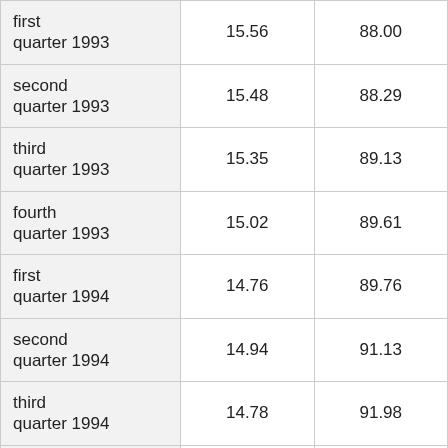|  |  |  |
| --- | --- | --- |
| first quarter 1993 | 15.56 | 88.00 |
| second quarter 1993 | 15.48 | 88.29 |
| third quarter 1993 | 15.35 | 89.13 |
| fourth quarter 1993 | 15.02 | 89.61 |
| first quarter 1994 | 14.76 | 89.76 |
| second quarter 1994 | 14.94 | 91.13 |
| third quarter 1994 | 14.78 | 91.98 |
| fourth quarter 1994 | 14.85 | 95.08 |